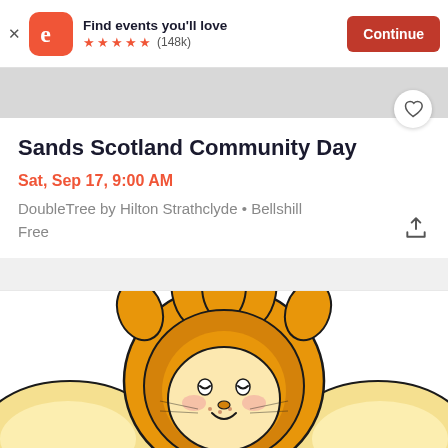[Figure (screenshot): Eventbrite app banner with logo, 'Find events you'll love' text, 5-star rating (148k reviews), and orange Continue button]
Sands Scotland Community Day
Sat, Sep 17, 9:00 AM
DoubleTree by Hilton Strathclyde • Bellshill
Free
[Figure (illustration): Cartoon illustration of a cute lion character with orange mane, freckles, smiling face, partially cropped at bottom of page]